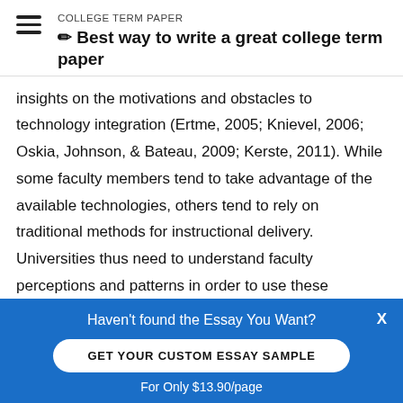COLLEGE TERM PAPER
✏ Best way to write a great college term paper
insights on the motivations and obstacles to technology integration (Ertme, 2005; Knievel, 2006; Oskia, Johnson, & Bateau, 2009; Kerste, 2011). While some faculty members tend to take advantage of the available technologies, others tend to rely on traditional methods for instructional delivery. Universities thus need to understand faculty perceptions and patterns in order to use these technologies effectively (Lane, 2009, Oskia et al, 2009;
Haven't found the Essay You Want? GET YOUR CUSTOM ESSAY SAMPLE For Only $13.90/page